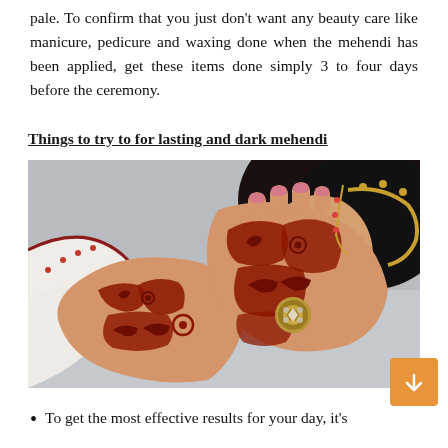pale. To confirm that you just don't want any beauty care like manicure, pedicure and waxing done when the mehendi has been applied, get these items done simply 3 to four days before the ceremony.
Things to try to for lasting and dark mehendi
[Figure (photo): Close-up photograph of a bride's hands adorned with intricate dark red mehendi (henna) patterns and jewellery, holding up near her face which is partially visible with traditional Indian bridal accessories.]
To get the most effective results for your day, it's